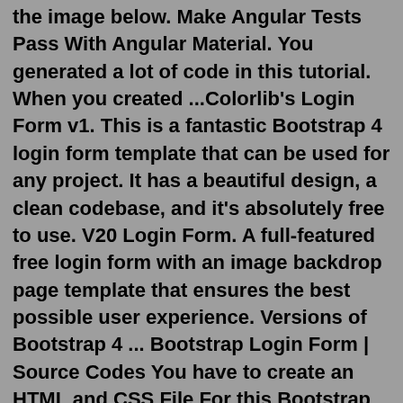the image below. Make Angular Tests Pass With Angular Material. You generated a lot of code in this tutorial. When you created ...Colorlib's Login Form v1. This is a fantastic Bootstrap 4 login form template that can be used for any project. It has a beautiful design, a clean codebase, and it's absolutely free to use. V20 Login Form. A full-featured free login form with an image backdrop page template that ensures the best possible user experience. Versions of Bootstrap 4 ... Bootstrap Login Form | Source Codes You have to create an HTML and CSS File For this Bootstrap Login Form. After creating these files just paste the following codes into your file. The First Step, create an HTML file with the name of index.html and paste the given codes in your HTML file. Remember, you've to create a file with .html extension.Sep 19, 2021 · After including Material Design CSS and JavaScript files, we will start design login form. The Material Design provided great look and feel to Form inputs. We just need to use class